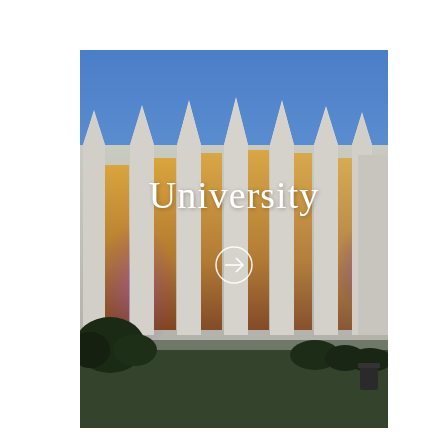[Figure (photo): Exterior photograph of a university building at dusk/evening. The building has distinctive angular fin-shaped architectural elements along its facade with large windows illuminated in warm amber and purple accent lighting. A bright blue twilight sky is visible above. Trees and landscaping are visible in the foreground. The word 'University' is overlaid in white serif text in the center of the image, with a circular arrow icon below it.]